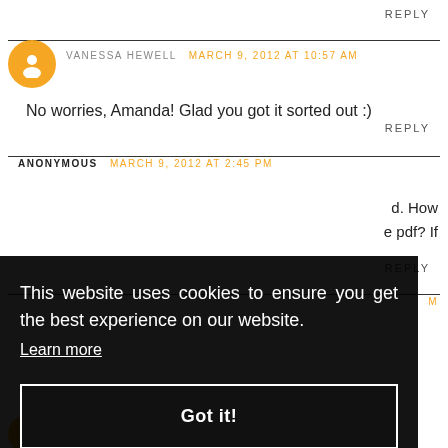REPLY
VANESSA HEWELL  MARCH 9, 2012 AT 10:57 AM
No worries, Amanda! Glad you got it sorted out :)
REPLY
ANONYMOUS  MARCH 9, 2012 AT 2:45 PM
d. How  e pdf? If
REPLY
M
This website uses cookies to ensure you get the best experience on our website. Learn more
Got it!